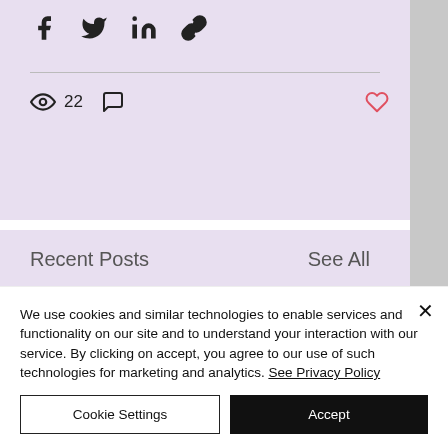[Figure (screenshot): Social media share icons: Facebook, Twitter, LinkedIn, and link icons in a row on lavender background]
[Figure (screenshot): Stats row showing eye/views icon with count 22, comment bubble icon, and heart/like icon in red on lavender background]
Recent Posts
See All
[Figure (photo): Three partially visible photos: white/grey on left, children playing outdoors near a stone building in center, dark space/nebula image on right]
We use cookies and similar technologies to enable services and functionality on our site and to understand your interaction with our service. By clicking on accept, you agree to our use of such technologies for marketing and analytics. See Privacy Policy